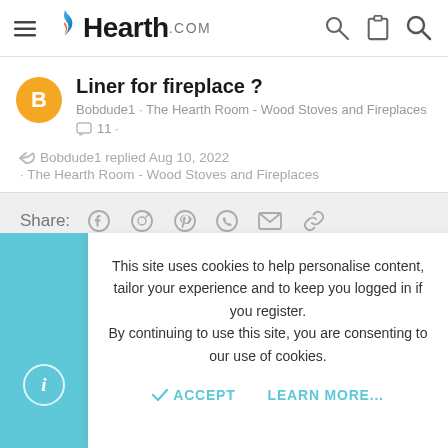Hearth.com
Liner for fireplace ?
Bobdude1 · The Hearth Room - Wood Stoves and Fireplaces
11 ·
Bobdude1 replied Aug 10, 2022 · The Hearth Room - Wood Stoves and Fireplaces
Share:
This site uses cookies to help personalise content, tailor your experience and to keep you logged in if you register. By continuing to use this site, you are consenting to our use of cookies.
ACCEPT   LEARN MORE...